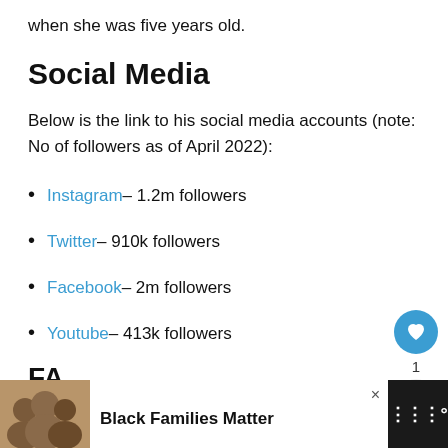when she was five years old.
Social Media
Below is the link to his social media accounts (note: No of followers as of April 2022):
Instagram– 1.2m followers
Twitter– 910k followers
Facebook– 2m followers
Youtube– 413k followers
FA
[Figure (other): Advertisement bar at bottom: photo of family, text 'Black Families Matter', close button, and logo on dark background]
[Figure (other): Floating action buttons: heart/like button (blue circle), count '1', and share button]